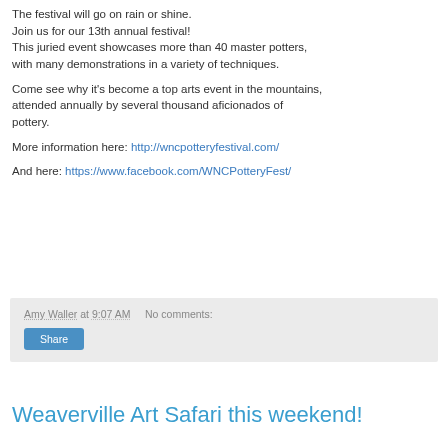The festival will go on rain or shine.
Join us for our 13th annual festival!
This juried event showcases more than 40 master potters, with many demonstrations in a variety of techniques.
Come see why it's become a top arts event in the mountains, attended annually by several thousand aficionados of pottery.
More information here: http://wncpotteryfestival.com/
And here: https://www.facebook.com/WNCPotteryFest/
Amy Waller at 9:07 AM   No comments:
Share
Weaverville Art Safari this weekend!